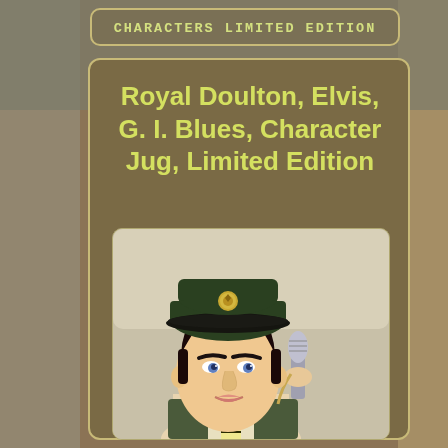CHARACTERS LIMITED EDITION
Royal Doulton, Elvis, G. I. Blues, Character Jug, Limited Edition
[Figure (photo): Photo of a Royal Doulton character jug depicting Elvis Presley in G.I. Blues military uniform, wearing a dark green army cap with gold badge, holding a microphone, with dark hair and blue eyes.]